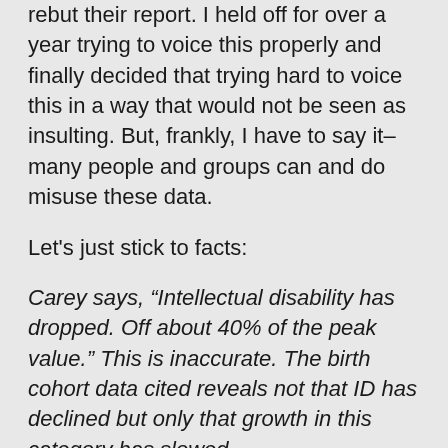rebut their report. I held off for over a year trying to voice this properly and finally decided that trying hard to voice this in a way that would not be seen as insulting. But, frankly, I have to say it–many people and groups can and do misuse these data.
Let's just stick to facts:
Carey says, “Intellectual disability has dropped. Off about 40% of the peak value.” This is inaccurate. The birth cohort data cited reveals not that ID has declined but only that growth in this category has slowed.
Look at the graph above. Notice the sharp